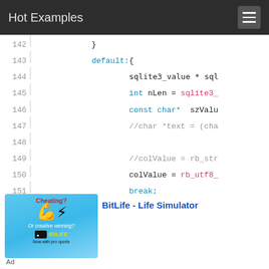Hot Examples
[Figure (screenshot): Code viewer showing lines 142-155 of C source code with syntax highlighting. Line 142: closing brace. Line 143: default:{ (keyword in blue). Line 144: sqlite3_value * sql... Line 145: int nLen = sqlite3_... (keywords in blue). Line 146: const char* szValu... (keywords in blue). Line 147: //char *text = (cha... (comment in gray). Line 148: blank. Line 149: //colValue = rb_str... (comment). Line 150: colValue = rb_utf8_... (function in pink). Line 151: break; (keyword in blue). Line 152: closing brace. Line 153: closing brace. Line 154: blank. Line 155: rb_hash_aset(hashRec, colNa... (function in pink).]
[Figure (illustration): Advertisement image for BitLife - Life Simulator app with blue background, flexing arm emoji, Cheating? text in red, BItLIFE logo in yellow, 'Now with pro sports' text]
BitLife - Life Simulator
Ad